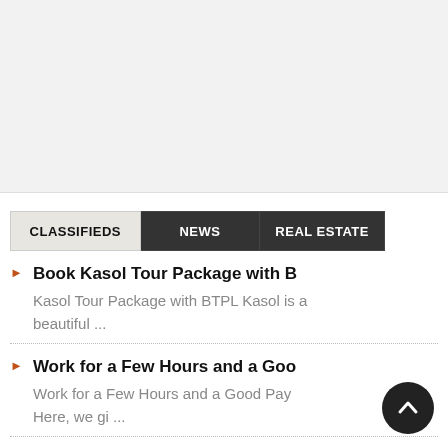[Figure (other): Gray advertisement placeholder area at top of page]
CLASSIFIEDS | NEWS | REAL ESTATE
Book Kasol Tour Package with B — Kasol Tour Package with BTPL Kasol is a beautiful ...
Work for a Few Hours and a Goo — Work for a Few Hours and a Good Pay Here, we gi ...